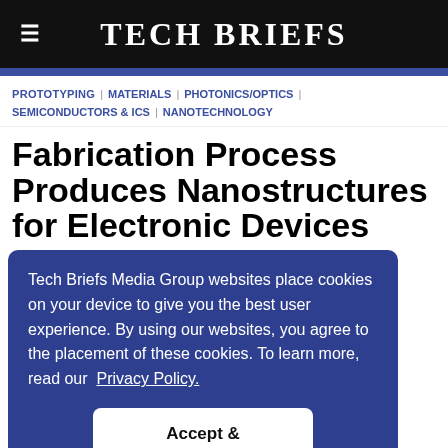Tech Briefs
PROTOTYPING | MATERIALS | PHOTONICS/OPTICS | SEMICONDUCTORS & ICS | NANOTECHNOLOGY
Fabrication Process Produces Nanostructures for Electronic Devices
Tech Briefs Media Group websites place cookies on your device to give you the best user experience. By using our websites, you agree to the placement of these cookies. To learn more, read our Privacy Policy.
Accept & Continue